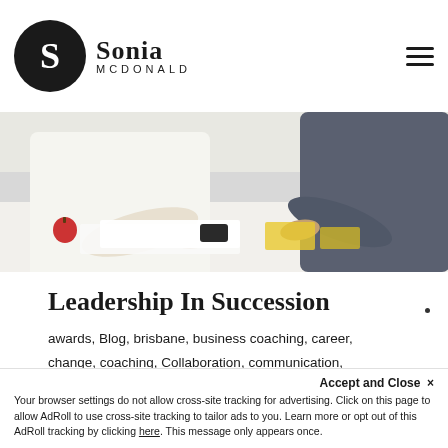Sonia McDonald
[Figure (photo): Two people at a desk collaborating, one in white shirt pointing at papers, with an apple and phone visible on desk]
Leadership In Succession
awards, Blog, brisbane, business coaching, career, change, coaching, Collaboration, communication, compassion, connection, courage, culture, Decision Making, Diversity and Inclusion, drive, Emerging Leaders, Human Resources, kindness, leadership, Leadership Attitude, leadership development, Leadership Skills, Learning and Development, melbourne, Organisational Development, self-awareness, Team, public, journel
Accept and Close ×
Your browser settings do not allow cross-site tracking for advertising. Click on this page to allow AdRoll to use cross-site tracking to tailor ads to you. Learn more or opt out of this AdRoll tracking by clicking here. This message only appears once.